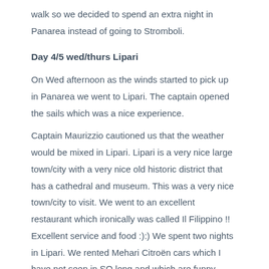walk so we decided to spend an extra night in Panarea instead of going to Stromboli.
Day 4/5 wed/thurs Lipari
On Wed afternoon as the winds started to pick up in Panarea we went to Lipari. The captain opened the sails which was a nice experience.
Captain Maurizzio cautioned us that the weather would be mixed in Lipari. Lipari is a very nice large town/city with a very nice old historic district that has a cathedral and museum. This was a very nice town/city to visit. We went to an excellent restaurant which ironically was called Il Filippino !! Excellent service and food :):) We spent two nights in Lipari. We rented Mehari Citroën cars which I have not seen in SO long and which are funny